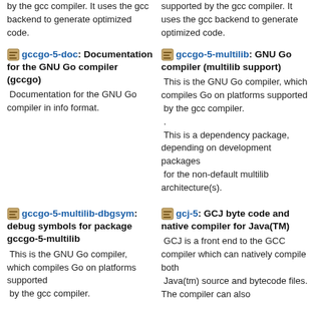by the gcc compiler. It uses the gcc backend to generate optimized code.
supported by the gcc compiler. It uses the gcc backend to generate optimized code.
gccgo-5-doc: Documentation for the GNU Go compiler (gccgo)
Documentation for the GNU Go compiler in info format.
gccgo-5-multilib: GNU Go compiler (multilib support)
This is the GNU Go compiler, which compiles Go on platforms supported by the gcc compiler. . This is a dependency package, depending on development packages for the non-default multilib architecture(s).
gccgo-5-multilib-dbgsym: debug symbols for package gccgo-5-multilib
This is the GNU Go compiler, which compiles Go on platforms supported by the gcc compiler.
gcj-5: GCJ byte code and native compiler for Java(TM)
GCJ is a front end to the GCC compiler which can natively compile both Java(tm) source and bytecode files. The compiler can also